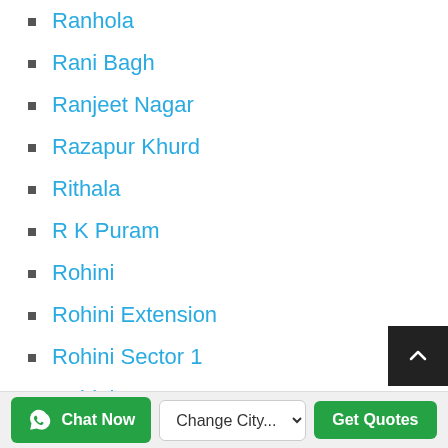Ranhola
Rani Bagh
Ranjeet Nagar
Razapur Khurd
Rithala
R K Puram
Rohini
Rohini Extension
Rohini Sector 1
Rohini Sector 2
Rohini Sector 3
Rohini Sector 4
Chat Now  Change City...  Get Quotes